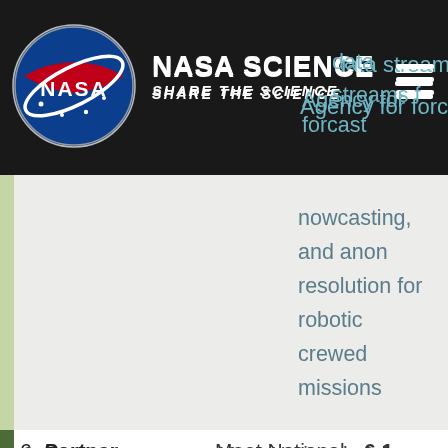NASA SCIENCE SHARE THE SCIENCE
data streams f... Agency for forecast... nowcasting, and anon... resolution for robotic crewed missions
6. Partner — Meet National, International, and societal needs consistent with Government directives
6.1 Secure the counse... space weather exper... within the governmen... academia, commercia... private sector
6.2 Provide key real-t... data streams to siste... agencies for forecast...